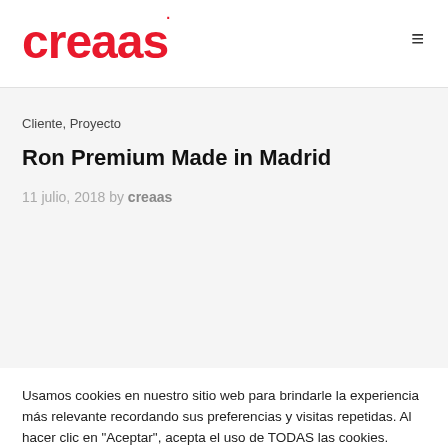creaas
Cliente, Proyecto
Ron Premium Made in Madrid
11 julio, 2018 by creaas
Usamos cookies en nuestro sitio web para brindarle la experiencia más relevante recordando sus preferencias y visitas repetidas. Al hacer clic en "Aceptar", acepta el uso de TODAS las cookies.